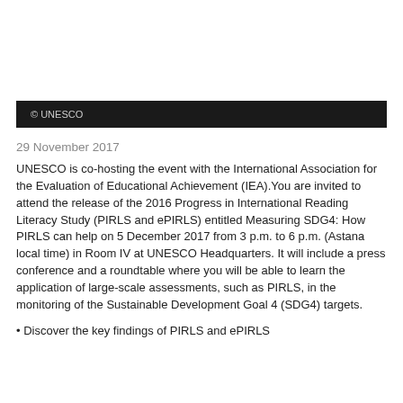© UNESCO
29 November 2017
UNESCO is co-hosting the event with the International Association for the Evaluation of Educational Achievement (IEA).You are invited to attend the release of the 2016 Progress in International Reading Literacy Study (PIRLS and ePIRLS) entitled Measuring SDG4: How PIRLS can help on 5 December 2017 from 3 p.m. to 6 p.m. (Astana local time) in Room IV at UNESCO Headquarters. It will include a press conference and a roundtable where you will be able to learn the application of large-scale assessments, such as PIRLS, in the monitoring of the Sustainable Development Goal 4 (SDG4) targets.
• Discover the key findings of PIRLS and ePIRLS